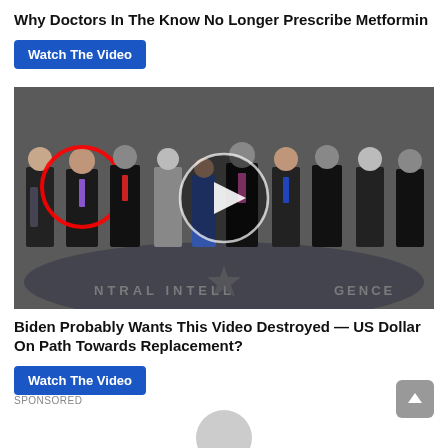Why Doctors In The Know No Longer Prescribe Metformin
Watch The Video
[Figure (photo): Group of people in suits standing in the CIA headquarters lobby with the CIA seal on the floor. One person on the left is circled in red. A video play button circle is overlaid in the center.]
Biden Probably Wants This Video Destroyed — US Dollar On Path Towards Replacement?
Watch The Video
SPONSORED